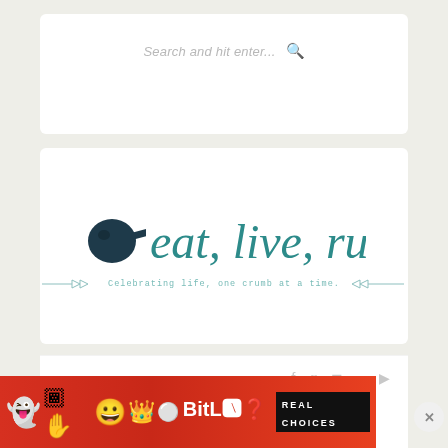Search and hit enter...
[Figure (logo): eat, live, run blog logo with skillet icon and tagline: Celebrating life, one crumb at a time.]
social icons: facebook, twitter, instagram, pinterest, rss
BREAKFAST / DESSERT / DINNER / EXERCISE / FITNESS / LUNCH
And I'm Back!
[Figure (infographic): BitLife advertisement banner with emoji characters and text REAL CHOICES]